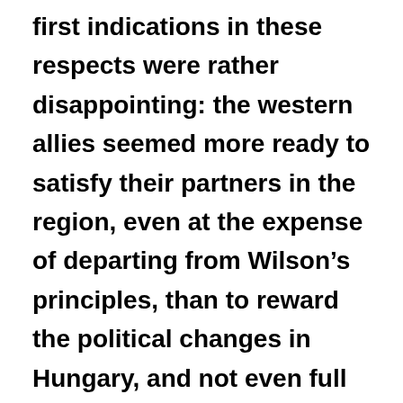first indications in these respects were rather disappointing: the western allies seemed more ready to satisfy their partners in the region, even at the expense of departing from Wilson's principles, than to reward the political changes in Hungary, and not even full autonomy could keep the Slovaks and the Romanians within 'historic Hungary'. Croat claims were considered justified by